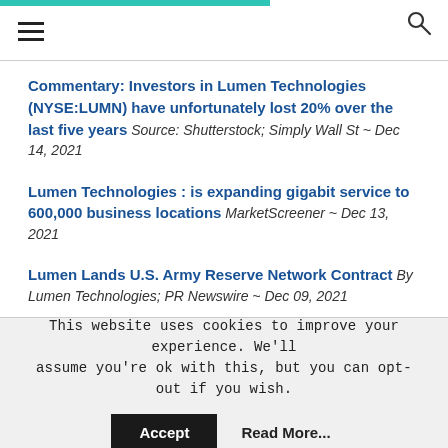Commentary: Investors in Lumen Technologies (NYSE:LUMN) have unfortunately lost 20% over the last five years Source: Shutterstock; Simply Wall St ~ Dec 14, 2021
Lumen Technologies : is expanding gigabit service to 600,000 business locations MarketScreener ~ Dec 13, 2021
Lumen Lands U.S. Army Reserve Network Contract By Lumen Technologies; PR Newswire ~ Dec 09, 2021
This website uses cookies to improve your experience. We'll assume you're ok with this, but you can opt-out if you wish.